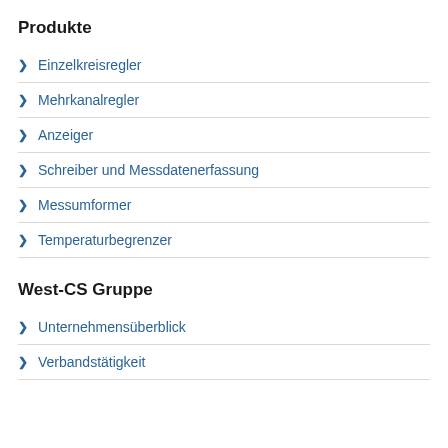Produkte
Einzelkreisregler
Mehrkanalregler
Anzeiger
Schreiber und Messdatenerfassung
Messumformer
Temperaturbegrenzer
West-CS Gruppe
Unternehmensüberblick
Verbandstätigkeit